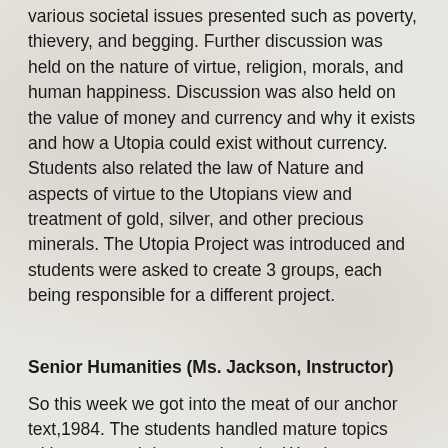various societal issues presented such as poverty, thievery, and begging. Further discussion was held on the nature of virtue, religion, morals, and human happiness. Discussion was also held on the value of money and currency and why it exists and how a Utopia could exist without currency. Students also related the law of Nature and aspects of virtue to the Utopians view and treatment of gold, silver, and other precious minerals. The Utopia Project was introduced and students were asked to create 3 groups, each being responsible for a different project.
Senior Humanities (Ms. Jackson, Instructor)
So this week we got into the meat of our anchor text,1984. The students handled mature topics with grace and rigorous thought. We also discussed the value of tradition in society and what happens to reality when the truth is overwritten with lies. This week your student also got to use their creative side